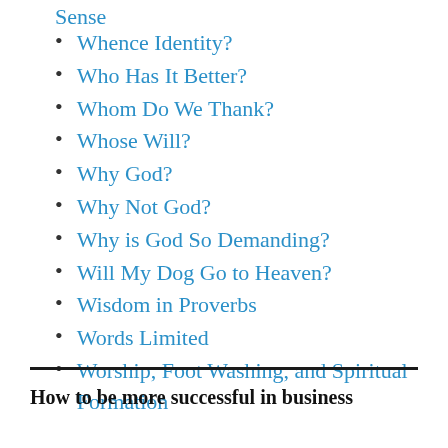Sense
Whence Identity?
Who Has It Better?
Whom Do We Thank?
Whose Will?
Why God?
Why Not God?
Why is God So Demanding?
Will My Dog Go to Heaven?
Wisdom in Proverbs
Words Limited
Worship, Foot Washing, and Spiritual Formation
How to be more successful in business